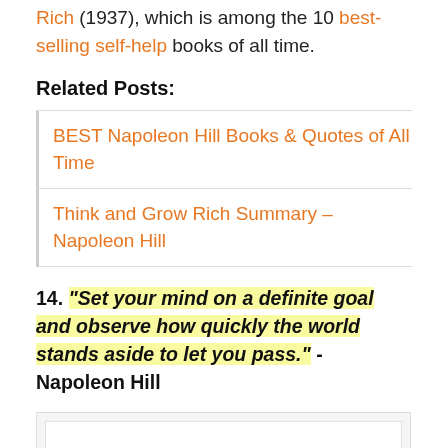Rich (1937), which is among the 10 best-selling self-help books of all time.
Related Posts:
BEST Napoleon Hill Books & Quotes of All Time
Think and Grow Rich Summary – Napoleon Hill
14. "Set your mind on a definite goal and observe how quickly the world stands aside to let you pass." - Napoleon Hill
[Figure (other): Empty image placeholder box]